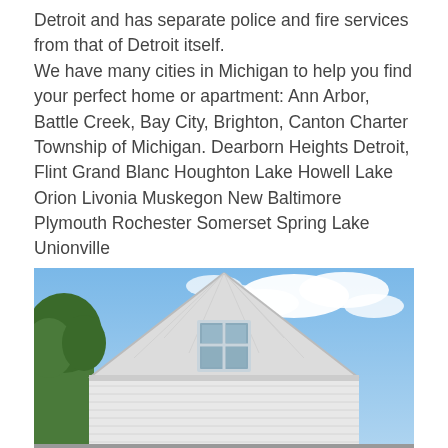Detroit and has separate police and fire services from that of Detroit itself. We have many cities in Michigan to help you find your perfect home or apartment: Ann Arbor, Battle Creek, Bay City, Brighton, Canton Charter Township of Michigan. Dearborn Heights Detroit, Flint Grand Blanc Houghton Lake Howell Lake Orion Livonia Muskegon New Baltimore Plymouth Rochester Somerset Spring Lake Unionville
[Figure (photo): Photo of the upper portion of a white house with a steep triangular roof gable, a dormer window on the gable, white siding, and a partly cloudy blue sky in the background with green trees visible on the left side.]